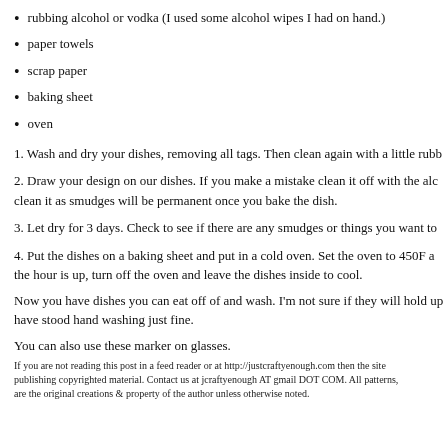rubbing alcohol or vodka (I used some alcohol wipes I had on hand.)
paper towels
scrap paper
baking sheet
oven
1. Wash and dry your dishes, removing all tags. Then clean again with a little rubb
2. Draw your design on our dishes. If you make a mistake clean it off with the alc clean it as smudges will be permanent once you bake the dish.
3. Let dry for 3 days. Check to see if there are any smudges or things you want to
4. Put the dishes on a baking sheet and put in a cold oven. Set the oven to 450F a the hour is up, turn off the oven and leave the dishes inside to cool.
Now you have dishes you can eat off of and wash. I'm not sure if they will hold up have stood hand washing just fine.
You can also use these marker on glasses.
If you are not reading this post in a feed reader or at http://justcraftyenough.com then the site publishing copyrighted material. Contact us at jcraftyenough AT gmail DOT COM. All patterns, are the original creations & property of the author unless otherwise noted.